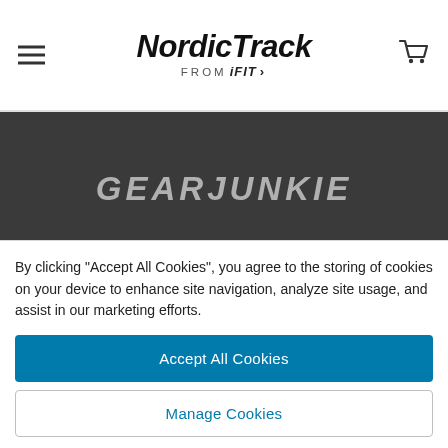NordicTrack FROM iFIT
[Figure (logo): GearJunkie logo in white/gray italic bold text on dark gray background]
REAL POWER
SMART-Response Drive
By clicking "Accept All Cookies", you agree to the storing of cookies on your device to enhance site navigation, analyze site usage, and assist in our marketing efforts.
Accept All Cookies
Manage Cookies